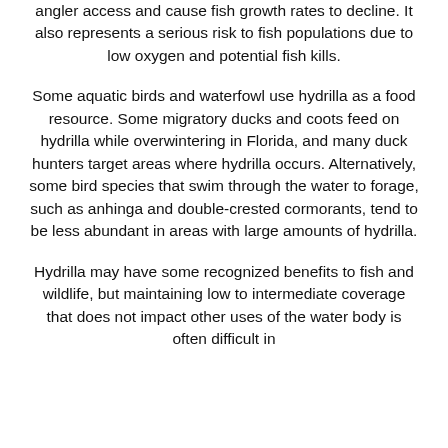angler access and cause fish growth rates to decline. It also represents a serious risk to fish populations due to low oxygen and potential fish kills.
Some aquatic birds and waterfowl use hydrilla as a food resource. Some migratory ducks and coots feed on hydrilla while overwintering in Florida, and many duck hunters target areas where hydrilla occurs. Alternatively, some bird species that swim through the water to forage, such as anhinga and double-crested cormorants, tend to be less abundant in areas with large amounts of hydrilla.
Hydrilla may have some recognized benefits to fish and wildlife, but maintaining low to intermediate coverage that does not impact other uses of the water body is often difficult in